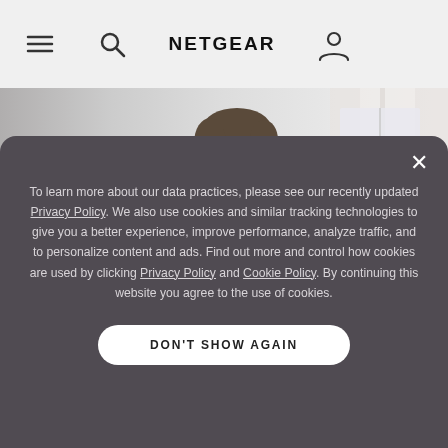NETGEAR
[Figure (photo): Man in white shirt sitting on a sofa, looking down, in a bright modern living room with curtains and a plant in the background.]
To learn more about our data practices, please see our recently updated Privacy Policy. We also use cookies and similar tracking technologies to give you a better experience, improve performance, analyze traffic, and to personalize content and ads. Find out more and control how cookies are used by clicking Privacy Policy and Cookie Policy. By continuing this website you agree to the use of cookies.
DON'T SHOW AGAIN